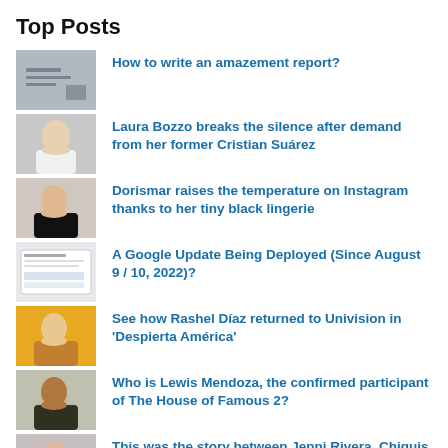Top Posts
How to write an amazement report?
Laura Bozzo breaks the silence after demand from her former Cristian Suárez
Dorismar raises the temperature on Instagram thanks to her tiny black lingerie
A Google Update Being Deployed (Since August 9 / 10, 2022)?
See how Rashel Díaz returned to Univision in 'Despierta América'
Who is Lewis Mendoza, the confirmed participant of The House of Famous 2?
This was the story between Jenni Rivera, Chiquis and Esteban Loaiza